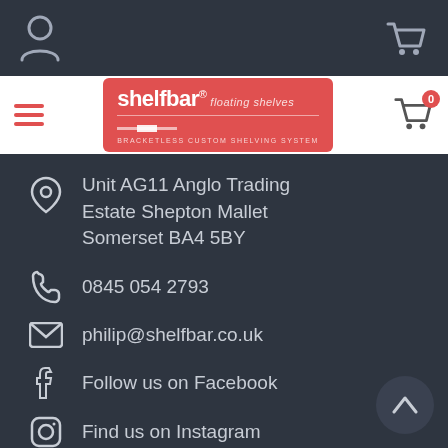[Figure (screenshot): Website header navigation bar with user icon on left and cart icon on right on dark background]
[Figure (logo): Shelfbar floating shelves logo in red badge with hamburger menu and cart icon with 0 badge]
Unit AG11 Anglo Trading Estate Shepton Mallet Somerset BA4 5BY
0845 054 2793
philip@shelfbar.co.uk
Follow us on Facebook
Find us on Instagram
Subscribe to us on Youtube